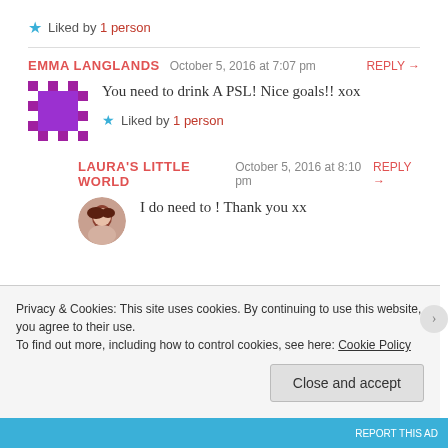Liked by 1 person
EMMA LANGLANDS  October 5, 2016 at 7:07 pm  REPLY →
You need to drink A PSL! Nice goals!! xox
Liked by 1 person
LAURA'S LITTLE WORLD  October 5, 2016 at 8:10 pm  REPLY →
I do need to ! Thank you xx
Privacy & Cookies: This site uses cookies. By continuing to use this website, you agree to their use.
To find out more, including how to control cookies, see here: Cookie Policy
Close and accept